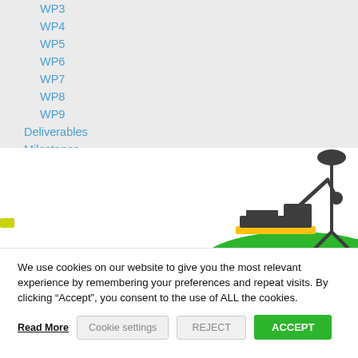WP3
WP4
WP5
WP6
WP7
WP8
WP9
Deliverables
Milestones
[Figure (illustration): Engineering illustration showing a construction crane/excavator vehicle on a green hill, and a wind turbine structure on the right against a white background]
We use cookies on our website to give you the most relevant experience by remembering your preferences and repeat visits. By clicking “Accept”, you consent to the use of ALL the cookies.
Read More   Cookie settings   REJECT   ACCEPT